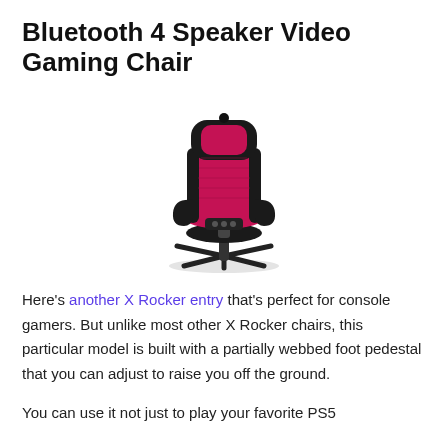Bluetooth 4 Speaker Video Gaming Chair
[Figure (photo): A gaming chair with black and pink/red upholstery, high back, armrests, and a partially webbed star-shaped pedestal base.]
Here's another X Rocker entry that's perfect for console gamers. But unlike most other X Rocker chairs, this particular model is built with a partially webbed foot pedestal that you can adjust to raise you off the ground.
You can use it not just to play your favorite PS5